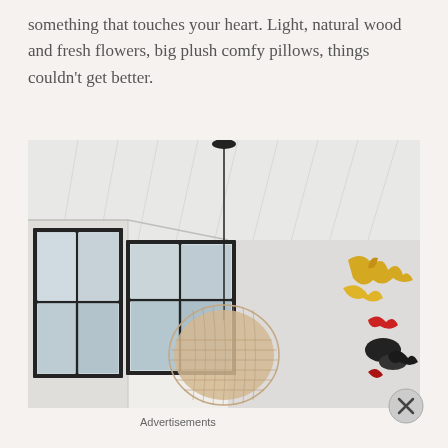something that touches your heart. Light, natural wood and fresh flowers, big plush comfy pillows, things couldn't get better.
[Figure (photo): Interior room photo showing a white wood-paneled ceiling with a pendant light hanging from a black ceiling medallion. A large rattan/wicker globe pendant shade hangs low. Black-framed windows are on the left showing a building outside. On the right wall there are colorful wall-mounted decorations/sculptures in yellow, red, and black. The room is bright and airy with white walls.]
Advertisements